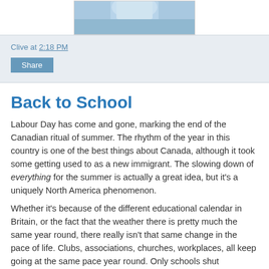[Figure (photo): Partial photo of a person in blue clothing, cropped at top of page]
Clive at 2:18 PM
Share
Back to School
Labour Day has come and gone, marking the end of the Canadian ritual of summer. The rhythm of the year in this country is one of the best things about Canada, although it took some getting used to as a new immigrant. The slowing down of everything for the summer is actually a great idea, but it's a uniquely North America phenomenon.
Whether it's because of the different educational calendar in Britain, or the fact that the weather there is pretty much the same year round, there really isn't that same change in the pace of life. Clubs, associations, churches, workplaces, all keep going at the same pace year round. Only schools shut